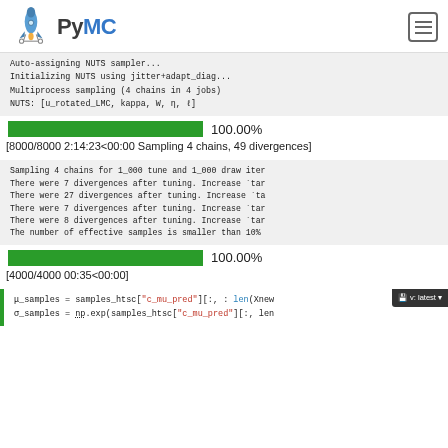PyMC
Auto-assigning NUTS sampler...
Initializing NUTS using jitter+adapt_diag...
Multiprocess sampling (4 chains in 4 jobs)
NUTS: [u_rotated_LMC, kappa, W, η, ℓ]
[Figure (infographic): Green progress bar at 100.00%]
[8000/8000 2:14:23<00:00 Sampling 4 chains, 49 divergences]
Sampling 4 chains for 1_000 tune and 1_000 draw iter
There were 7 divergences after tuning. Increase `tar
There were 27 divergences after tuning. Increase `ta
There were 7 divergences after tuning. Increase `tar
There were 8 divergences after tuning. Increase `tar
The number of effective samples is smaller than 10%
[Figure (infographic): Green progress bar at 100.00%]
[4000/4000 00:35<00:00]
μ_samples = samples_htsc["c_mu_pred"][:, : len(Xnew
σ_samples = np.exp(samples_htsc["c_mu_pred"][:, len